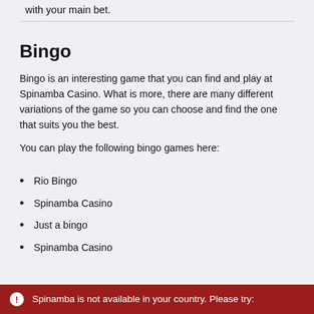with your main bet.
Bingo
Bingo is an interesting game that you can find and play at Spinamba Casino. What is more, there are many different variations of the game so you can choose and find the one that suits you the best.
You can play the following bingo games here:
Rio Bingo
Spinamba Casino
Just a bingo
Spinamba Casino
Spinamba is not available in your country. Please try: